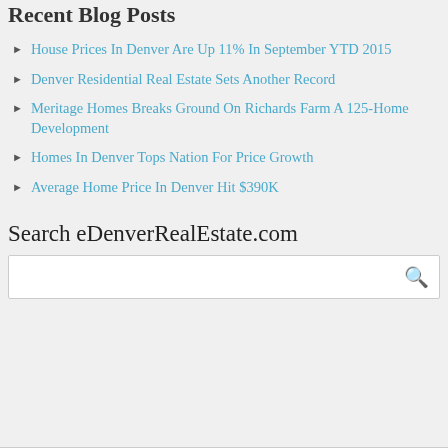Recent Blog Posts
House Prices In Denver Are Up 11% In September YTD 2015
Denver Residential Real Estate Sets Another Record
Meritage Homes Breaks Ground On Richards Farm A 125-Home Development
Homes In Denver Tops Nation For Price Growth
Average Home Price In Denver Hit $390K
Search eDenverRealEstate.com